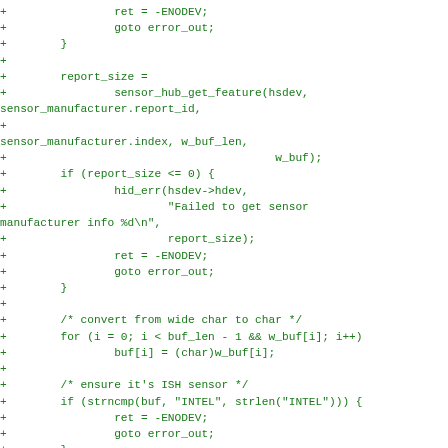+                ret = -ENODEV;
+                goto error_out;
+        }
+
+        report_size =
+                sensor_hub_get_feature(hsdev,
sensor_manufacturer.report_id,
+
sensor_manufacturer.index, w_buf_len,
+                                        w_buf);
+        if (report_size <= 0) {
+                hid_err(hsdev->hdev,
+                        "Failed to get sensor
manufacturer info %d\n",
+                        report_size);
+                ret = -ENODEV;
+                goto error_out;
+        }
+
+        /* convert from wide char to char */
+        for (i = 0; i < buf_len - 1 && w_buf[i]; i++)
+                buf[i] = (char)w_buf[i];
+
+        /* ensure it's ISH sensor */
+        if (strncmp(buf, "INTEL", strlen("INTEL"))) {
+                ret = -ENODEV;
+                goto error_out;
+        }
+
+        memset(w_buf, 0, w_buf_len);